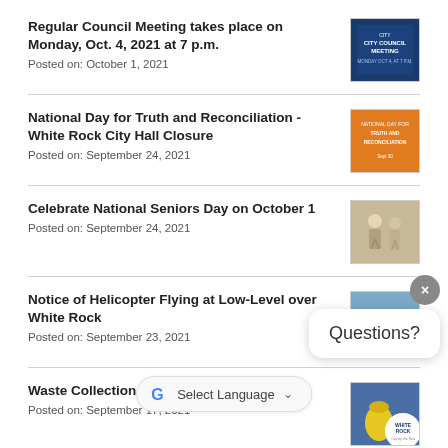Regular Council Meeting takes place on Monday, Oct. 4, 2021 at 7 p.m.
Posted on: October 1, 2021
National Day for Truth and Reconciliation - White Rock City Hall Closure
Posted on: September 24, 2021
Celebrate National Seniors Day on October 1
Posted on: September 24, 2021
Notice of Helicopter Flying at Low-Level over White Rock
Posted on: September 23, 2021
Waste Collection Change: Week of Sept. 27
Posted on: September 17, 2021
Questions?
Select Language